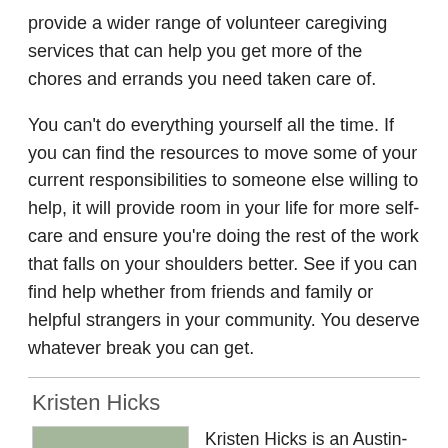provide a wider range of volunteer caregiving services that can help you get more of the chores and errands you need taken care of.
You can't do everything yourself all the time. If you can find the resources to move some of your current responsibilities to someone else willing to help, it will provide room in your life for more self-care and ensure you're doing the rest of the work that falls on your shoulders better. See if you can find help whether from friends and family or helpful strangers in your community. You deserve whatever break you can get.
Kristen Hicks
[Figure (photo): Headshot photo of Kristen Hicks, a woman with dark hair and glasses.]
Kristen Hicks is an Austin-based copywriter and lifelong student with an ongoing curiousity to learn and explore new things. She turns that interest to researching and